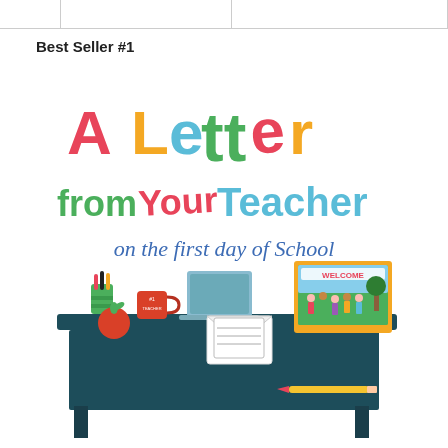Best Seller #1
[Figure (illustration): Book cover illustration for 'A Letter from Your Teacher on the First Day of School'. Colorful hand-lettered title text over an illustrated teacher's desk scene with school supplies, an apple, a letter with a heart, a laptop, and a welcome sign with children.]